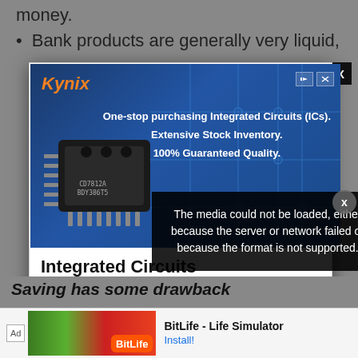money.
Bank products are generally very liquid,
[Figure (infographic): Kynix advertisement banner showing an integrated circuit chip on a blue circuit board background. Text reads: One-stop purchasing Integrated Circuits (ICs). Extensive Stock Inventory. 100% Guaranteed Quality.]
Integrated Circuits
Kynix
[Figure (other): Media error message overlay: The media could not be loaded, either because the server or network failed or because the format is not supported.]
Saving has some drawbacks
[Figure (infographic): Small bottom advertisement bar for BitLife - Life Simulator with Install button]